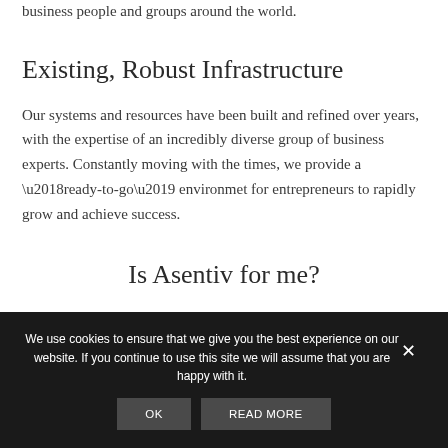business people and groups around the world.
Existing, Robust Infrastructure
Our systems and resources have been built and refined over years, with the expertise of an incredibly diverse group of business experts. Constantly moving with the times, we provide a ‘ready-to-go’ environmet for entrepreneurs to rapidly grow and achieve success.
Is Asentiv for me?
We use cookies to ensure that we give you the best experience on our website. If you continue to use this site we will assume that you are happy with it.